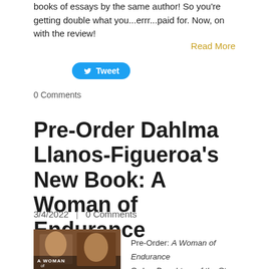books of essays by the same author! So you're getting double what you...errr...paid for. Now, on with the review!
Read More
[Figure (other): Twitter Tweet button with bird icon]
0 Comments
Pre-Order Dahlma Llanos-Figueroa's New Book: A Woman of Endurance
3/4/2022  |  0 Comments
[Figure (photo): Book cover of 'A Woman of Endurance' showing a woman's back facing a portrait painting]
Pre-Order: A Woman of Endurance
Order: Daughters of the Stone